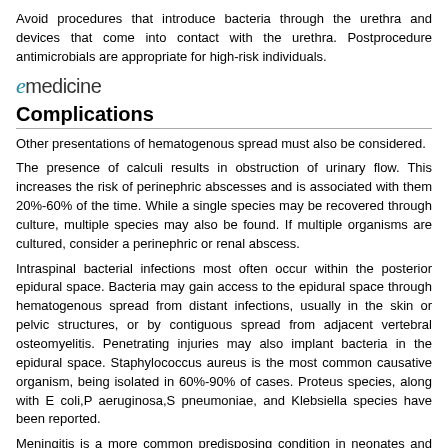Avoid procedures that introduce bacteria through the urethra and devices that come into contact with the urethra. Postprocedure antimicrobials are appropriate for high-risk individuals.
[Figure (logo): eMedicine logo with stylized italic 'e' in teal and 'medicine' in dark sans-serif]
Complications
Other presentations of hematogenous spread must also be considered.
The presence of calculi results in obstruction of urinary flow. This increases the risk of perinephric abscesses and is associated with them 20%-60% of the time. While a single species may be recovered through culture, multiple species may also be found. If multiple organisms are cultured, consider a perinephric or renal abscess.
Intraspinal bacterial infections most often occur within the posterior epidural space. Bacteria may gain access to the epidural space through hematogenous spread from distant infections, usually in the skin or pelvic structures, or by contiguous spread from adjacent vertebral osteomyelitis. Penetrating injuries may also implant bacteria in the epidural space. Staphylococcus aureus is the most common causative organism, being isolated in 60%-90% of cases. Proteus species, along with E coli,P aeruginosa,S pneumoniae, and Klebsiella species have been reported.
Meningitis is a more common predisposing condition in neonates and infants. Gram-negative organisms and Proteus and Citrobacter species are the most frequent causative organisms.